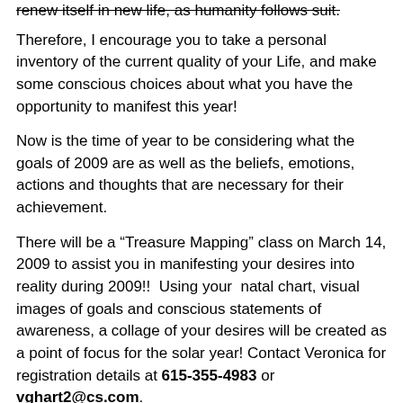renew itself in new life, as humanity follows suit.
Therefore, I encourage you to take a personal inventory of the current quality of your Life, and make some conscious choices about what you have the opportunity to manifest this year!
Now is the time of year to be considering what the goals of 2009 are as well as the beliefs, emotions, actions and thoughts that are necessary for their achievement.
There will be a “Treasure Mapping” class on March 14, 2009 to assist you in manifesting your desires into reality during 2009!!  Using your  natal chart, visual images of goals and conscious statements of awareness, a collage of your desires will be created as a point of focus for the solar year! Contact Veronica for registration details at 615-355-4983 or vghart2@cs.com.